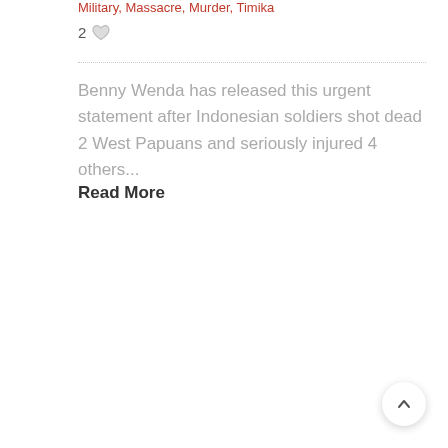Military, Massacre, Murder, Timika
2 ♡
Benny Wenda has released this urgent statement after Indonesian soldiers shot dead 2 West Papuans and seriously injured 4 others...
Read More